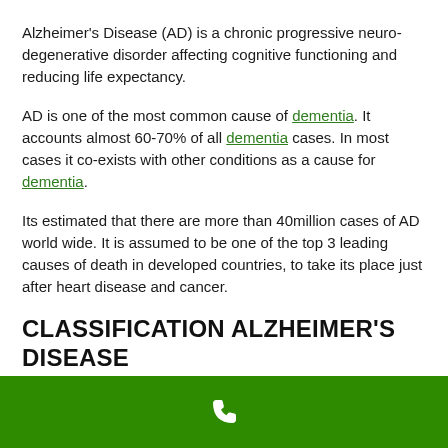Alzheimer's Disease (AD) is a chronic progressive neuro-degenerative disorder affecting cognitive functioning and reducing life expectancy.
AD is one of the most common cause of dementia. It accounts almost 60-70% of all dementia cases. In most cases it co-exists with other conditions as a cause for dementia.
Its estimated that there are more than 40million cases of AD world wide. It is assumed to be one of the top 3 leading causes of death in developed countries, to take its place just after heart disease and cancer.
CLASSIFICATION ALZHEIMER'S DISEASE
[Figure (other): Green footer bar with a white phone/call icon]